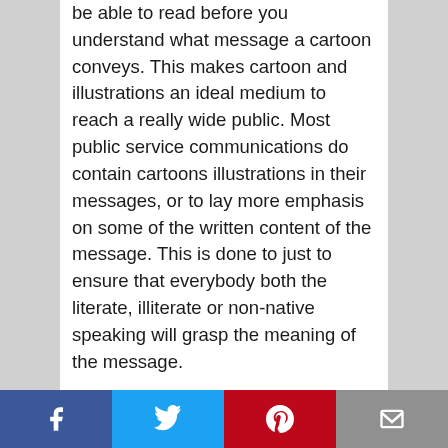be able to read before you understand what message a cartoon conveys. This makes cartoon and illustrations an ideal medium to reach a really wide public. Most public service communications do contain cartoons illustrations in their messages, or to lay more emphasis on some of the written content of the message. This is done to just to ensure that everybody both the literate, illiterate or non-native speaking will grasp the meaning of the message.
Cartoons also have our youthful associations with happiness, humor, and fun, and can serve to relax the audience in a potentially tense or dull meeting. They serve as an icebreaker, uniting your audience with the pleasure of shared communication and humor. The use of cartoon is
Facebook | Twitter | Pinterest | Email